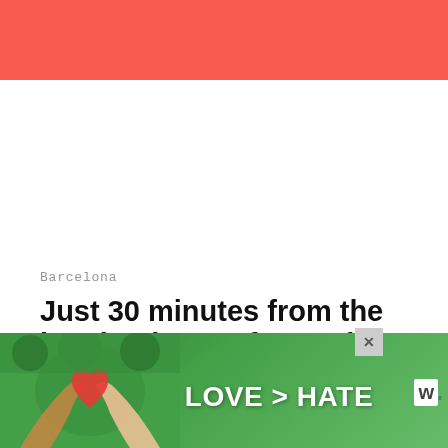[Figure (other): Red/coral colored header bar spanning full width at top of page]
Barcelona
Just 30 minutes from the beating heart of Barcelona, Mediterranean resort Palm Sitges is providing our...
[Figure (other): Advertisement banner with green background, hands forming heart shape, text 'LOVE > HATE', close button X, and logo mark]